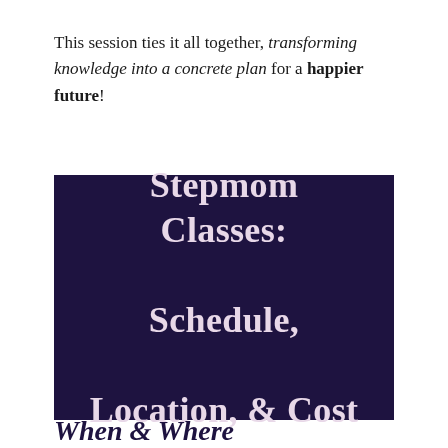This session ties it all together, transforming knowledge into a concrete plan for a happier future!
[Figure (illustration): Dark navy/purple rectangular banner with large serif bold white-pink text reading: Stepmom Classes: Schedule, Location, & Cost]
When & Where